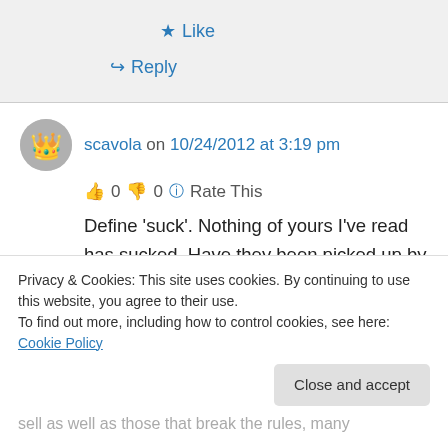★ Like
↳ Reply
scavola on 10/24/2012 at 3:19 pm
👍 0 👎 0 ℹ Rate This
Define 'suck'. Nothing of yours I've read has sucked. Have they been picked up by a major player agent/publisher yet, no, but they don't
Privacy & Cookies: This site uses cookies. By continuing to use this website, you agree to their use.
To find out more, including how to control cookies, see here: Cookie Policy
Close and accept
sell as well as those that break the rules, many